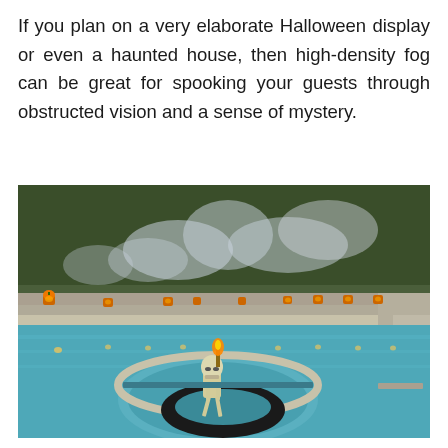If you plan on a very elaborate Halloween display or even a haunted house, then high-density fog can be great for spooking your guests through obstructed vision and a sense of mystery.
[Figure (photo): A Halloween-decorated pool scene at dusk. A skeleton figure sits in a black inflatable tube ring in a spa/hot tub area. Glowing jack-o'-lanterns line the edges of the pool steps. Eerie fog/smoke rises above the pool in front of a backdrop of trees.]